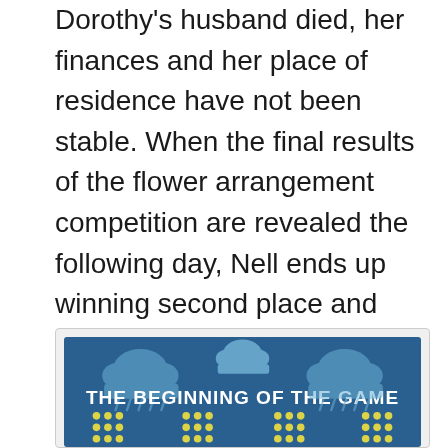Dorothy's husband died, her finances and her place of residence have not been stable. When the final results of the flower arrangement competition are revealed the following day, Nell ends up winning second place and Dorothy wins first place. Connor is shocked when he sees Nell take out her phone and appear as if she's approaching the judge. However, Connor sees that Nell walks past the judge and straight toward Dorothy. He learns about Nell's plan to become Dorothy's friend and is impressed by Nell's good sense of sportsmanship.
[Figure (infographic): Blue infographic banner with cloud/weather icons and yellow dot grid patterns. Bold white text reads 'THE BEGINNING OF THE GAME'.]